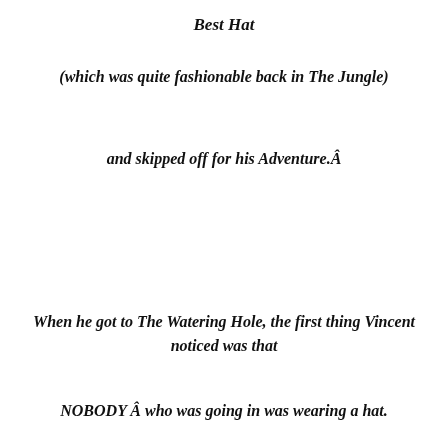Best Hat
(which was quite fashionable back in The Jungle)
and skipped off for his Adventure.Â
When he got to The Watering Hole, the first thing Vincent noticed was that
NOBODY Â who was going in was wearing a hat.